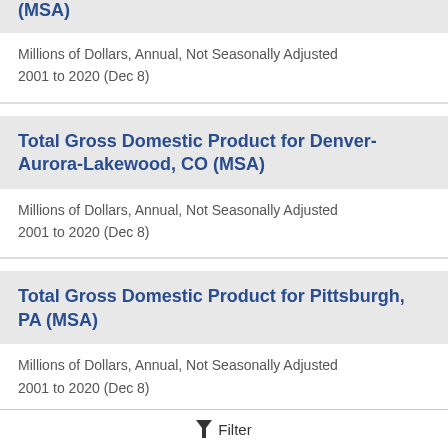(MSA)
Millions of Dollars, Annual, Not Seasonally Adjusted
2001 to 2020 (Dec 8)
Total Gross Domestic Product for Denver-Aurora-Lakewood, CO (MSA)
Millions of Dollars, Annual, Not Seasonally Adjusted
2001 to 2020 (Dec 8)
Total Gross Domestic Product for Pittsburgh, PA (MSA)
Millions of Dollars, Annual, Not Seasonally Adjusted
2001 to 2020 (Dec 8)
Total Gross Domestic Product for San Jose-
Filter